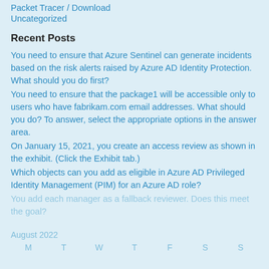Packet Tracer / Download
Uncategorized
Recent Posts
You need to ensure that Azure Sentinel can generate incidents based on the risk alerts raised by Azure AD Identity Protection. What should you do first?
You need to ensure that the package1 will be accessible only to users who have fabrikam.com email addresses. What should you do? To answer, select the appropriate options in the answer area.
On January 15, 2021, you create an access review as shown in the exhibit. (Click the Exhibit tab.)
Which objects can you add as eligible in Azure AD Privileged Identity Management (PIM) for an Azure AD role?
You add each manager as a fallback reviewer. Does this meet the goal?
August 2022
M  T  W  T  F  S  S